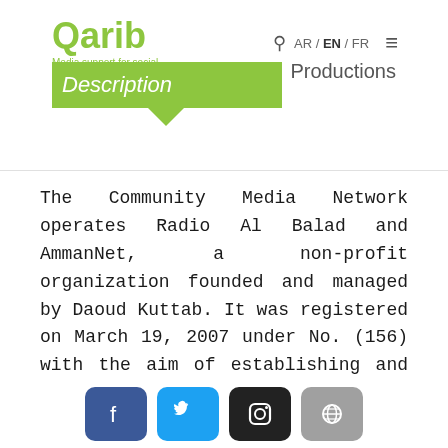[Figure (logo): Qarib logo with green text and tagline 'Media support for social cohesion and dialogue']
Description  Productions  AR / EN / FR
The Community Media Network operates Radio Al Balad and AmmanNet, a non-profit organization founded and managed by Daoud Kuttab. It was registered on March 19, 2007 under No. (156) with the aim of establishing and managing media and cultural projects in the Kingdom of Jordan and the Arab world.
[Figure (infographic): Social media icons: Facebook, Twitter, Instagram, Globe/Website]